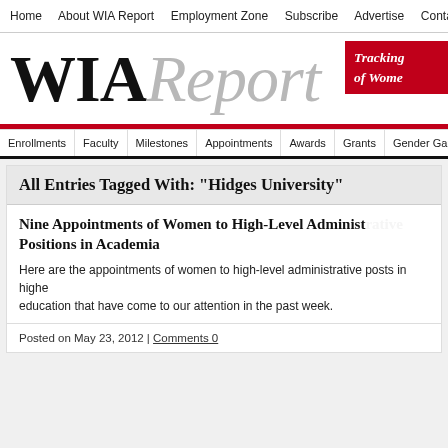Home | About WIA Report | Employment Zone | Subscribe | Advertise | Contact
WIA Report — Tracking of Women
Enrollments | Faculty | Milestones | Appointments | Awards | Grants | Gender Gap | L…
All Entries Tagged With: "Hidges University"
Nine Appointments of Women to High-Level Administrative Positions in Academia
Here are the appointments of women to high-level administrative posts in higher education that have come to our attention in the past week.
Posted on May 23, 2012 | Comments 0